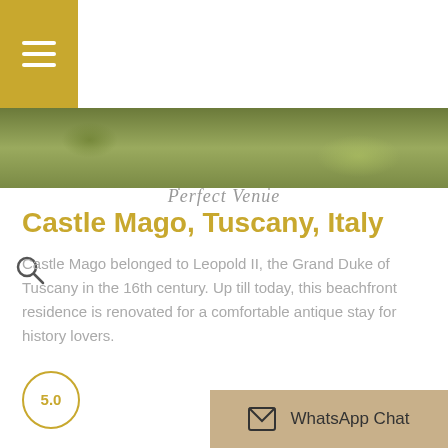[Figure (logo): Perfect Venue logo with illustrated castle above cursive text 'Perfect Venue']
[Figure (photo): Landscape photo band showing green grass lawn with trees in background]
Castle Mago, Tuscany, Italy
Castle Mago belonged to Leopold II, the Grand Duke of Tuscany in the 16th century. Up till today, this beachfront residence is renovated for a comfortable antique stay for history lovers.
5.0
WhatsApp Chat